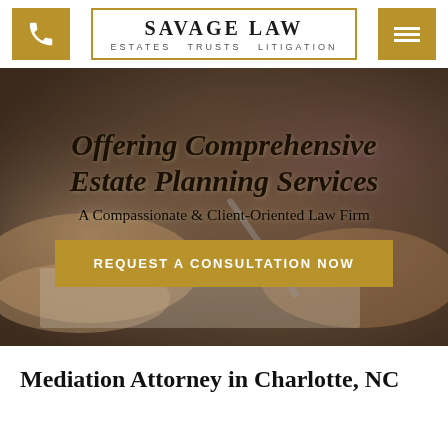SAVAGE LAW — ESTATES TRUSTS LITIGATION
[Figure (photo): Background photo of elderly hands signing a legal document with a pen, overlaid with hero text and CTA button for estate planning law firm]
Offering Comprehensive Estate Planning Services
A Compassionate & Client-Oriented Law Firm
REQUEST A CONSULTATION NOW
Mediation Attorney in Charlotte, NC